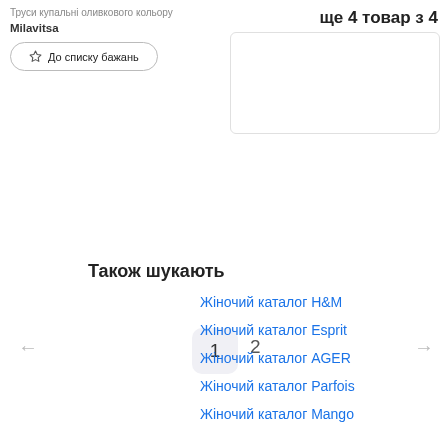Труси купальні оливкового кольору
Milavitsa
До списку бажань
ще 4 товар з 4
1  2
Також шукають
Жіночий каталог H&M
Жіночий каталог Esprit
Жіночий каталог AGER
Жіночий каталог Parfois
Жіночий каталог Mango